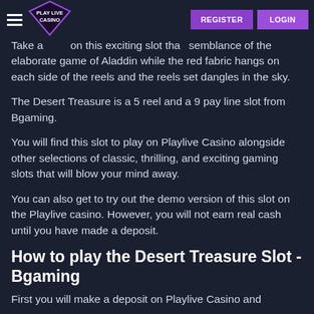PLAY LIVE CASINO | REGISTER | LOGIN
Take a spin on this exciting slot that bears a semblance of the elaborate game of Aladdin while the red fabric hangs on each side of the reels and the reels set dangles in the sky.
The Desert Treasure is a 5 reel and a 9 pay line slot from Bgaming.
You will find this slot to play on Playlive Casino alongside other selections of classic, thrilling, and exciting gaming slots that will blow your mind away.
You can also get to try out the demo version of this slot on the Playlive casino. However, you will not earn real cash until you have made a deposit.
How to play the Desert Treasure Slot - Bgaming
First you will make a deposit on Playlive Casino and